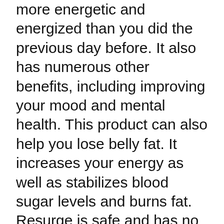more energetic and energized than you did the previous day before. It also has numerous other benefits, including improving your mood and mental health. This product can also help you lose belly fat. It increases your energy as well as stabilizes blood sugar levels and burns fat. Resurge is safe and has no side effects.
Resurge is an all-natural sleep aid that has 8 ingredients. It improves the quality of your sleep and allows you to fall asleep faster. It reduces stress and anxiety. It increases deep sleep and prevents ammonia from being produced during sleep. It also decreases the production of aging hormones while you're asleep. It is a great supplement for people who don't get 7 to 8 hours of sleep per night.